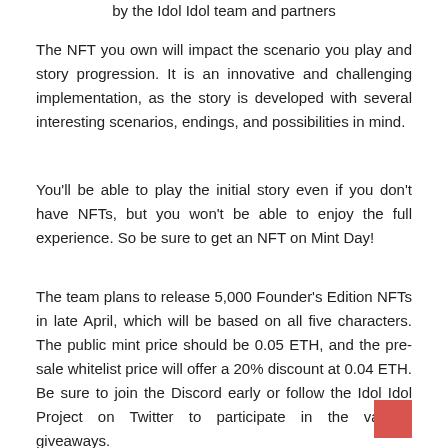by the Idol Idol team and partners
The NFT you own will impact the scenario you play and story progression. It is an innovative and challenging implementation, as the story is developed with several interesting scenarios, endings, and possibilities in mind.
You'll be able to play the initial story even if you don't have NFTs, but you won't be able to enjoy the full experience. So be sure to get an NFT on Mint Day!
The team plans to release 5,000 Founder's Edition NFTs in late April, which will be based on all five characters. The public mint price should be 0.05 ETH, and the pre-sale whitelist price will offer a 20% discount at 0.04 ETH. Be sure to join the Discord early or follow the Idol Idol Project on Twitter to participate in the various giveaways.